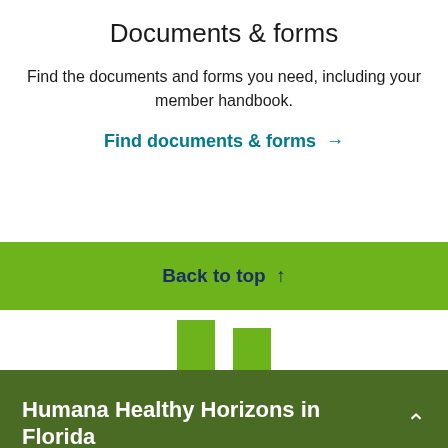Documents & forms
Find the documents and forms you need, including your member handbook.
Find documents & forms →
Back to top ↑
[Figure (other): Two green rectangular icon shapes partially visible]
Humana Healthy Horizons in Florida